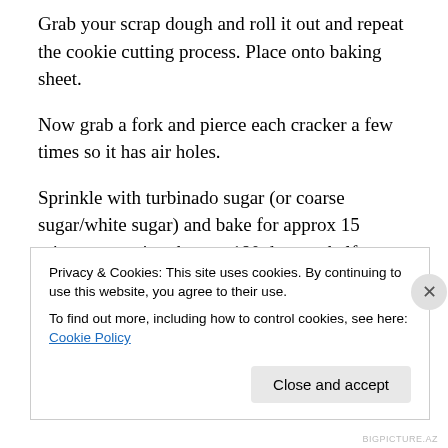Grab your scrap dough and roll it out and repeat the cookie cutting process. Place onto baking sheet.
Now grab a fork and pierce each cracker a few times so it has air holes.
Sprinkle with turbinado sugar (or coarse sugar/white sugar) and bake for approx 15 minutes, rotating the pan 180 degrees half way through the baking time. There is no need to flip the crackers during baking. Baking time will vary depending on how thick your crackers are, so keep that in mind
Privacy & Cookies: This site uses cookies. By continuing to use this website, you agree to their use.
To find out more, including how to control cookies, see here: Cookie Policy
Close and accept